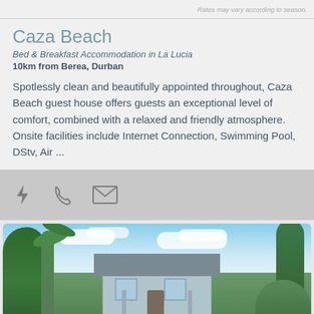Rates may vary according to season.
Caza Beach
Bed & Breakfast Accommodation in La Lucia
10km from Berea, Durban
Spotlessly clean and beautifully appointed throughout, Caza Beach guest house offers guests an exceptional level of comfort, combined with a relaxed and friendly atmosphere. Onsite facilities include Internet Connection, Swimming Pool, DStv, Air ...
[Figure (infographic): Action bar with three icons: lightning bolt, phone handset, and envelope (email)]
[Figure (photo): Exterior photo of Caza Beach guest house showing a white/light blue house with a dark roof, surrounded by tropical trees including palms, under a blue sky with clouds.]